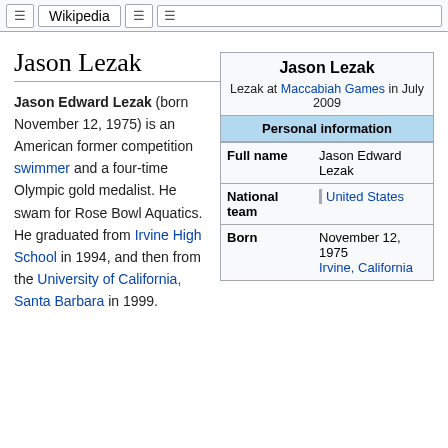Wikipedia
Jason Lezak
Jason Edward Lezak (born November 12, 1975) is an American former competition swimmer and a four-time Olympic gold medalist. He swam for Rose Bowl Aquatics. He graduated from Irvine High School in 1994, and then from the University of California, Santa Barbara in 1999.
| Jason Lezak |  |
| --- | --- |
| Lezak at Maccabiah Games in July 2009 |  |
| Personal information |  |
| Full name | Jason Edward Lezak |
| National team | United States |
| Born | November 12, 1975
Irvine, California |